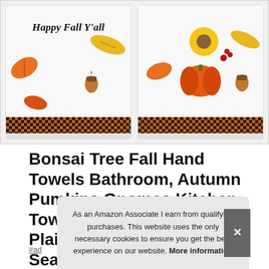[Figure (photo): Two autumn-themed hand towels with 'Happy Fall Y'all' text, fall leaves, acorns, and orange/black buffalo plaid border at bottom]
Bonsai Tree Fall Hand Towels Bathroom, Autumn Pumkins Gnomes Kitchen Towels 18"x28", Buffalo Plaid Truck Maple Leaves Seasonal Dish Tea Towel Housewarming Gifts Decor for Ne
#ad
As an Amazon Associate I earn from qualifying purchases. This website uses the only necessary cookies to ensure you get the best experience on our website. More information